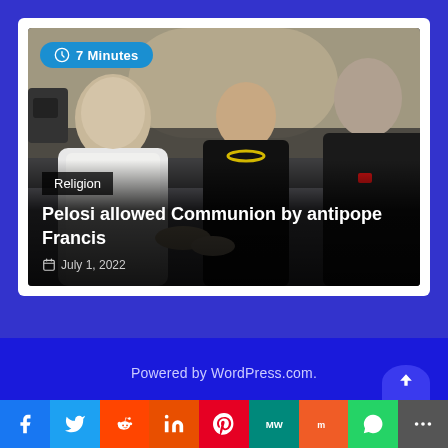[Figure (photo): News article card showing people at a religious event. A figure in white papal vestments greeting a woman in black and a man in a dark suit. Background shows ornate church interior.]
Religion
Pelosi allowed Communion by antipope Francis
July 1, 2022
7 Minutes
Powered by WordPress.com.